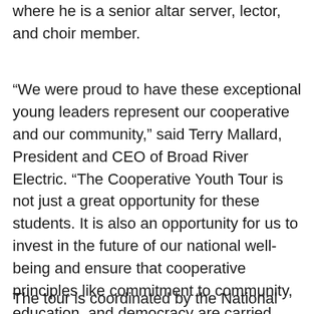where he is a senior altar server, lector, and choir member.
“We were proud to have these exceptional young leaders represent our cooperative and our community,” said Terry Mallard, President and CEO of Broad River Electric. “The Cooperative Youth Tour is not just a great opportunity for these students. It is also an opportunity for us to invest in the future of our national well-being and ensure that cooperative principles like commitment to community, education, and democracy are carried on.”
The tour is coordinated by the National Rural